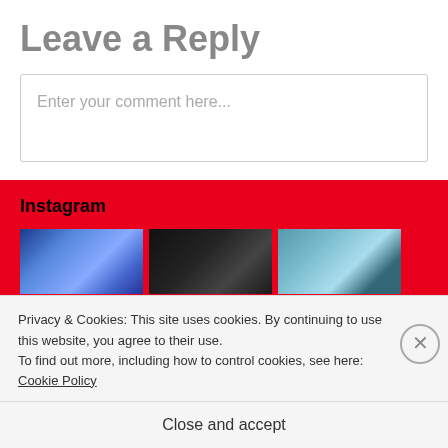Leave a Reply
Enter your comment here...
Instagram
[Figure (photo): Three Instagram photos: a blue concert/stage scene, a dark concert scene, and a teal/blue scene]
Privacy & Cookies: This site uses cookies. By continuing to use this website, you agree to their use.
To find out more, including how to control cookies, see here: Cookie Policy
Close and accept